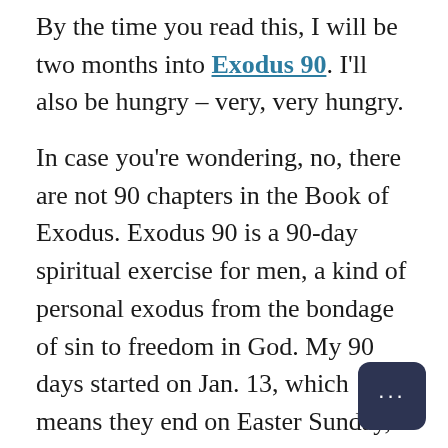By the time you read this, I will be two months into Exodus 90. I'll also be hungry – very, very hungry.

In case you're wondering, no, there are not 90 chapters in the Book of Exodus. Exodus 90 is a 90-day spiritual exercise for men, a kind of personal exodus from the bondage of sin to freedom in God. My 90 days started on Jan. 13, which means they end on Easter Sunday, the day the whole Church celebrates salvation and new life.